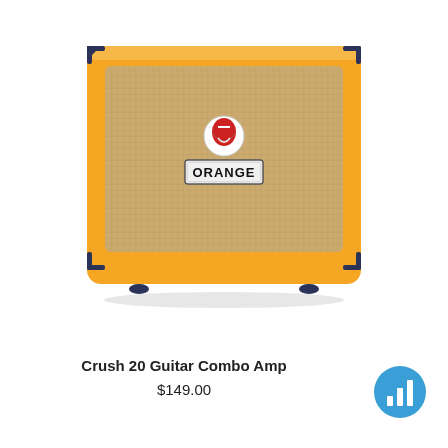[Figure (photo): Orange Crush 20 Guitar Combo Amp — orange tolex cabinet with dark navy corner protectors and feet, cream/tan woven speaker grille cloth, Orange brand logo badge in center of grille, and small Orange coat-of-arms crest above badge.]
Crush 20 Guitar Combo Amp
$149.00
[Figure (logo): Blue circular logo with white bar chart / signal icon in center — appears to be a Moodle or similar platform logo.]